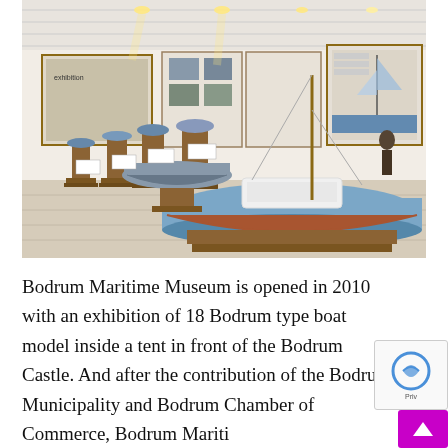[Figure (photo): Interior of Bodrum Maritime Museum showing model boats on wooden display stands in a row, with exhibition panels on the wall. In the foreground is a large blue and white boat model. The museum has white tile floors and white ceiling.]
Bodrum Maritime Museum is opened in 2010 with an exhibition of 18 Bodrum type boat model inside a tent in front of the Bodrum Castle. And after the contribution of the Bodrum Municipality and Bodrum Chamber of Commerce, Bodrum Maritime